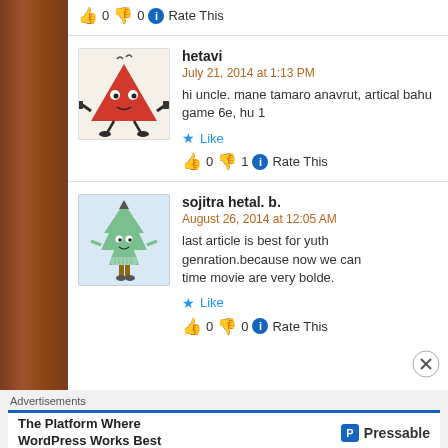👍 0 👎 0 ℹ Rate This
hetavi
July 21, 2014 at 1:13 PM
hi uncle. mane tamaro anavrut, artical bahu game 6e, hu 1
★ Like
👍 0 👎 1 ℹ Rate This
sojitra hetal. b.
August 26, 2014 at 12:05 AM
last article is best for yuth genration.because now we can time movie are very bolde.
★ Like
👍 0 👎 0 ℹ Rate This
Advertisements
The Platform Where WordPress Works Best — Pressable